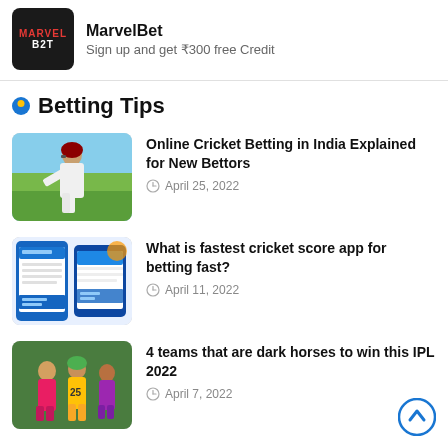[Figure (logo): MarvelBet logo - dark background with red MARVEL and white B2T text]
MarvelBet
Sign up and get ₹300 free Credit
Betting Tips
[Figure (photo): Cricket batsman in white uniform swinging bat]
Online Cricket Betting in India Explained for New Bettors
April 25, 2022
[Figure (screenshot): Cricket score app screenshots showing match interface]
What is fastest cricket score app for betting fast?
April 11, 2022
[Figure (photo): IPL cricket players in colorful team jerseys]
4 teams that are dark horses to win this IPL 2022
April 7, 2022